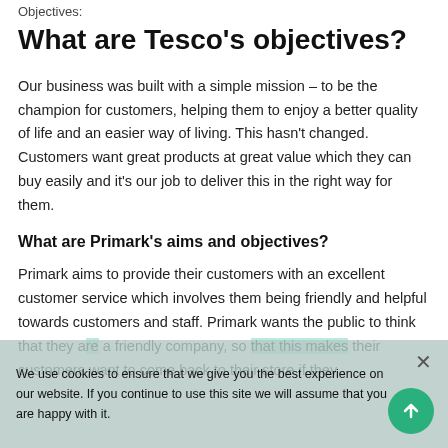Objectives:
What are Tesco's objectives?
Our business was built with a simple mission – to be the champion for customers, helping them to enjoy a better quality of life and an easier way of living. This hasn't changed. Customers want great products at great value which they can buy easily and it's our job to deliver this in the right way for them.
What are Primark's aims and objectives?
Primark aims to provide their customers with an excellent customer service which involves them being friendly and helpful towards customers and staff. Primark wants the public to think that they are a friendly company, so that this makes their customers want to come back to their store if they
We use cookies to ensure that we give you the best experience on our website. If you continue to use this site we will assume that you are happy with it.